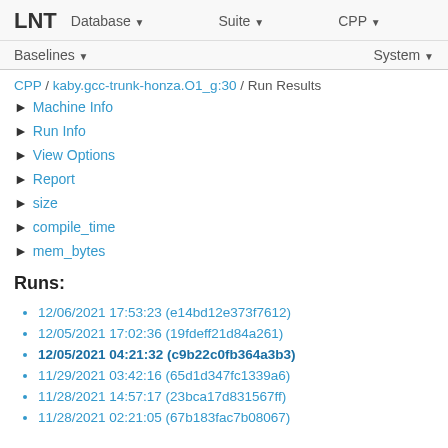LNT  Database  Suite  CPP
Baselines  System
CPP / kaby.gcc-trunk-honza.O1_g:30 / Run Results
Machine Info
Run Info
View Options
Report
size
compile_time
mem_bytes
Runs:
12/06/2021 17:53:23 (e14bd12e373f7612)
12/05/2021 17:02:36 (19fdeff21d84a261)
12/05/2021 04:21:32 (c9b22c0fb364a3b3)
11/29/2021 03:42:16 (65d1d347fc1339a6)
11/28/2021 14:57:17 (23bca17d831567ff)
11/28/2021 02:21:05 (67b183fac7b08067)